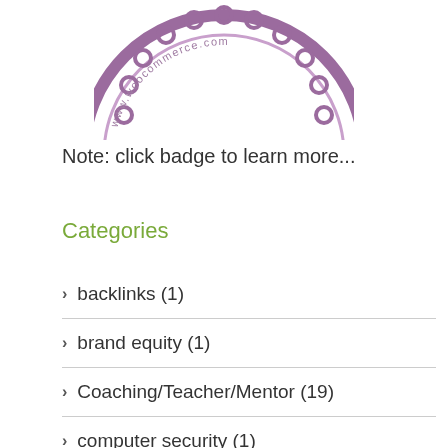[Figure (logo): WooCommerce badge/seal with purple scalloped border and www.woocommerce.com text, partially cropped at top]
Note: click badge to learn more...
Categories
> backlinks (1)
> brand equity (1)
> Coaching/Teacher/Mentor (19)
> computer security (1)
> Covid-19 (1)
> cybersecurity (2)